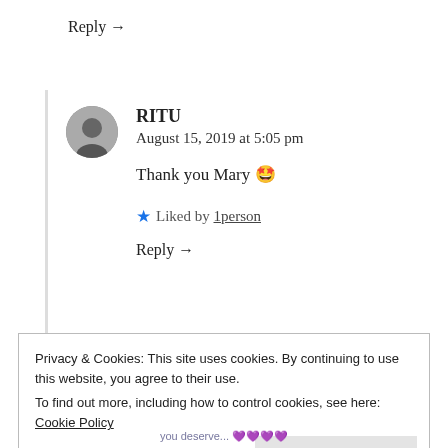Reply →
RITU
August 15, 2019 at 5:05 pm

Thank you Mary 🤩

★ Liked by 1person

Reply →
Privacy & Cookies: This site uses cookies. By continuing to use this website, you agree to their use.
To find out more, including how to control cookies, see here: Cookie Policy
Close and accept